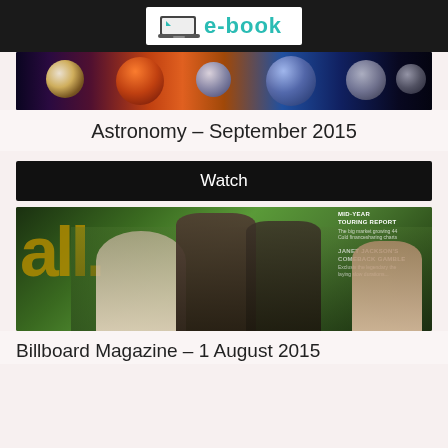e-book
[Figure (photo): Astronomy magazine cover banner showing planets and space imagery]
Astronomy – September 2015
Watch
[Figure (photo): Billboard magazine cover showing country music artists outdoors]
Billboard Magazine – 1 August 2015